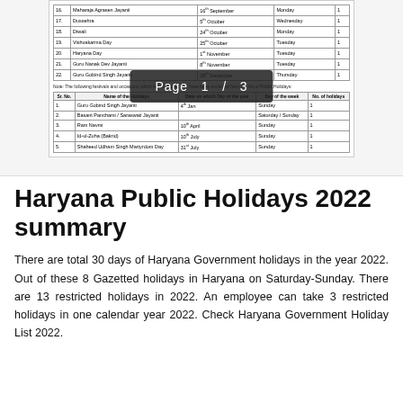[Figure (screenshot): Partial view of a table listing Haryana public holidays with Sr. No., Name of Holiday, Date, Day of Week, and Number of holidays columns. Rows visible include entries 16-22 (Maharaja Agrasen Jayanti, Dussehra, Diwali, Vishvakarma Day, Haryana Day, Guru Nanak Dev Jayanti, Guru Gobind Singh Jayanti) and a second table below with a note about excluded festivals, showing entries 1-5.]
Haryana Public Holidays 2022 summary
There are total 30 days of Haryana Government holidays in the year 2022. Out of these 8 Gazetted holidays in Haryana on Saturday-Sunday. There are 13 restricted holidays in 2022. An employee can take 3 restricted holidays in one calendar year 2022. Check Haryana Government Holiday List 2022.